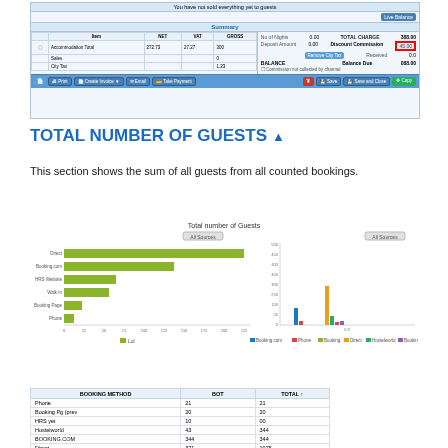[Figure (screenshot): Screenshot of a hotel booking summary interface showing accommodation totals, sales, city tax, charges, commission, and action buttons (Print, Create Invoice, Email, Take Payment, Save, Save and Close, Copy)]
TOTAL NUMBER OF GUESTS ▲
This section shows the sum of all guests from all counted bookings.
[Figure (bar-chart): Two charts side by side: left is a horizontal bar chart showing total guests by channel (Direct, Booking.com, HRS Website, Walk-In, Booking Page, Phone); right is a vertical bar chart showing guests by booking method over time. Legend shows Booking.com, Phone, Booking, Direct, Booking Engine, Booking Page.]
| BOOKING METHOD | BOT | TOTAL ↑ |
| --- | --- | --- |
| Phone | 21 | 21 |
| Booking Pg (prev | 20 | 20 |
| HRS yet | 10 | 00 |
| Hostelworld | 43 | 344 |
| BOOKING.COM | 344 | 344 |
| Direct | 371 | 1075 |
| Total | 1000 | 1001 |